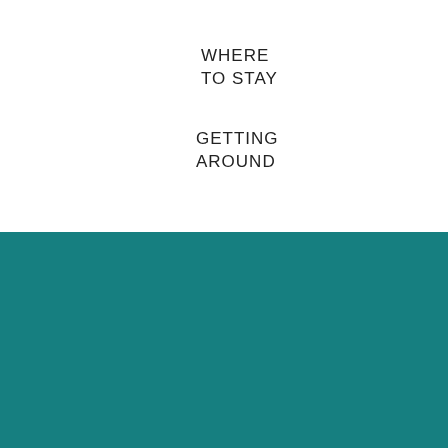WHERE
TO STAY
GETTING
AROUND
[Figure (screenshot): App Store and Google Play download badges]
© Copyright, All Rights Reserved  |  MicronesiaTour.com  |  Website Terms of Use  |  Site Map  |  Website & App by GuamWEBZ
[Figure (infographic): Facebook, YouTube, and Instagram social media icons]